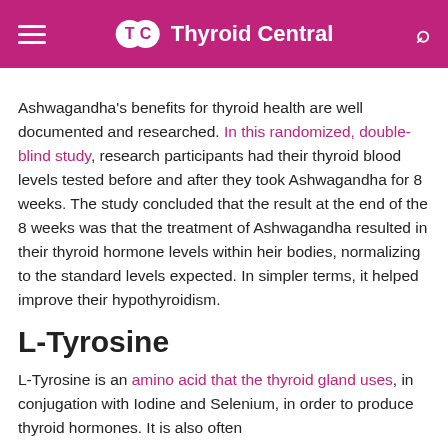Thyroid Central
Ashwagandha's benefits for thyroid health are well documented and researched. In this randomized, double-blind study, research participants had their thyroid blood levels tested before and after they took Ashwagandha for 8 weeks. The study concluded that the result at the end of the 8 weeks was that the treatment of Ashwagandha resulted in their thyroid hormone levels within heir bodies, normalizing to the standard levels expected. In simpler terms, it helped improve their hypothyroidism.
L-Tyrosine
L-Tyrosine is an amino acid that the thyroid gland uses, in conjugation with Iodine and Selenium, in order to produce thyroid hormones. It is also often